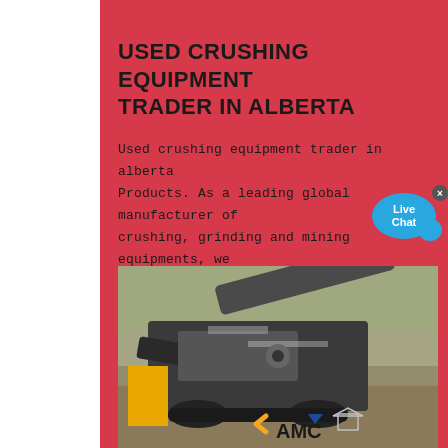USED CRUSHING EQUIPMENT TRADER IN ALBERTA
Used crushing equipment trader in alberta Products. As a leading global manufacturer of crushing, grinding and mining equipments, we offer advanced, reasonable solutions for size-reduction requirements including. Used ...
contact us
[Figure (photo): Photograph of heavy crushing/mining machinery equipment outdoors on a dirt/gravel surface with a desert or quarry background. AMC logo visible in lower right corner.]